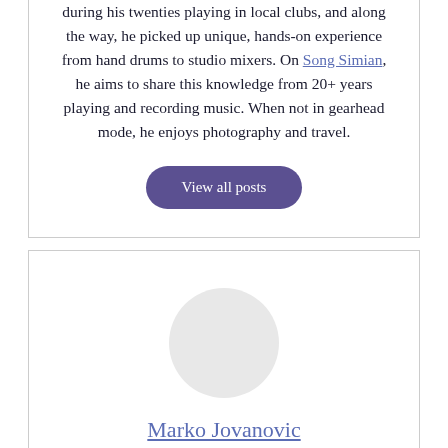during his twenties playing in local clubs, and along the way, he picked up unique, hands-on experience from hand drums to studio mixers. On Song Simian, he aims to share this knowledge from 20+ years playing and recording music. When not in gearhead mode, he enjoys photography and travel.
View all posts
Marko Jovanovic
Marko is the senior editor and writer on